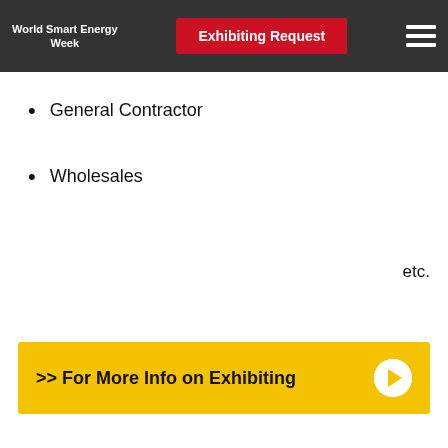World Smart Energy Week | Exhibiting Request
General Contractor
Wholesales
etc.
>> For More Info on Exhibiting
Consisting & Concurrent